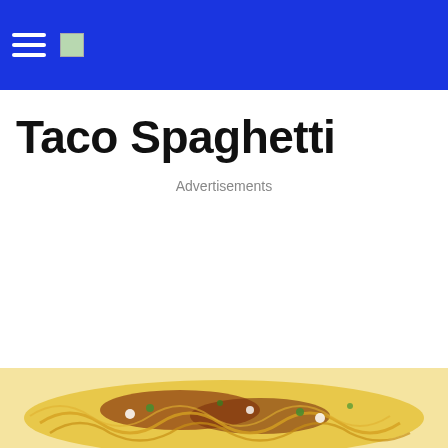Taco Spaghetti
Advertisements
[Figure (photo): Plate of taco spaghetti with yellow noodles and meat sauce with green herbs visible at bottom of page]